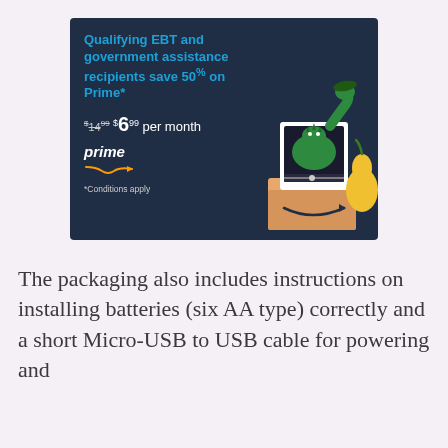[Figure (infographic): Amazon Prime advertisement banner on dark navy background. Text reads: 'Qualifying EBT and government assistance recipients save 50% on Prime*' in blue, '$14.99 $6.99 per month' with old price struck through, Amazon Prime logo with smile arrow, '*Conditions apply'. Right side shows illustrated green dinosaur/dragon peeking out of a white framed tablet/screen sitting in an Amazon delivery box, with a yellow pear/gourd fruit beside it.]
The packaging also includes instructions on installing batteries (six AA type) correctly and a short Micro-USB to USB cable for powering and